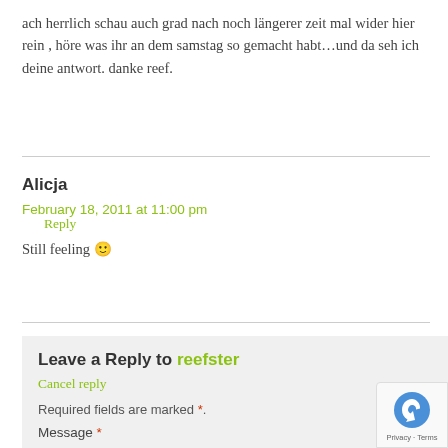ach herrlich schau auch grad nach noch längerer zeit mal wider hier rein , höre was ihr an dem samstag so gemacht habt…und da seh ich deine antwort. danke reef.
Reply
Alicja
February 18, 2011 at 11:00 pm
Still feeling 🙂
Reply
Leave a Reply to reefster
Cancel reply
Required fields are marked *.
Message *